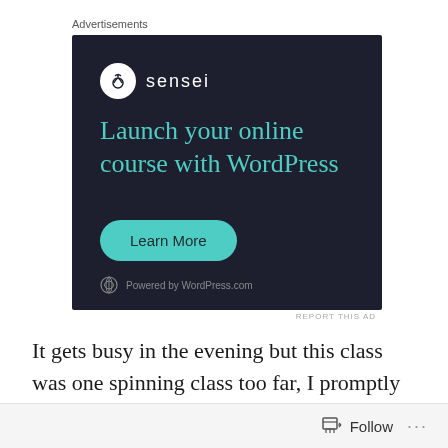Advertisements
[Figure (screenshot): Sensei advertisement banner with dark navy background. Shows Sensei logo (white circle with bonsai tree icon and 'sensei' text). Headline: 'Launch your online course with WordPress' in teal/green color. A teal 'Learn More' button. Footer: WordPress logo with 'Powered by WordPress.com'.]
REPORT THIS AD
It gets busy in the evening but this class was one spinning class too far, I promptly blew up about half way through it as a bowl of noodles
Follow ...